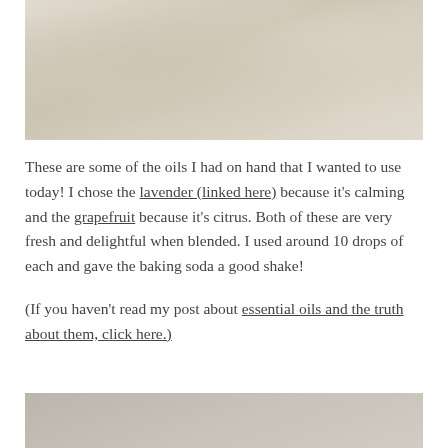[Figure (photo): Close-up photo of white/cream powder (baking soda), showing texture with a fold or crease.]
These are some of the oils I had on hand that I wanted to use today! I chose the lavender (linked here) because it's calming and the grapefruit because it's citrus. Both of these are very fresh and delightful when blended. I used around 10 drops of each and gave the baking soda a good shake!
(If you haven't read my post about essential oils and the truth about them, click here.)
[Figure (photo): Partial bottom photo, appears to show a gray/beige surface or container.]